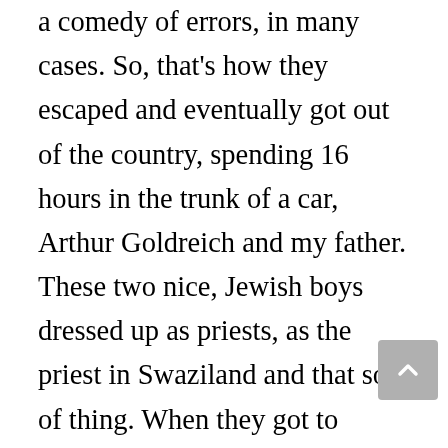a comedy of errors, in many cases. So, that's how they escaped and eventually got out of the country, spending 16 hours in the trunk of a car, Arthur Goldreich and my father. These two nice, Jewish boys dressed up as priests, as the priest in Swaziland and that sort of thing. When they got to Francistown, for their safety of irony they were put back into prison to be protected. They had just escaped from prison and landed themselves back in prison but this time because the District Commissioner felt it was the safest place to put them.